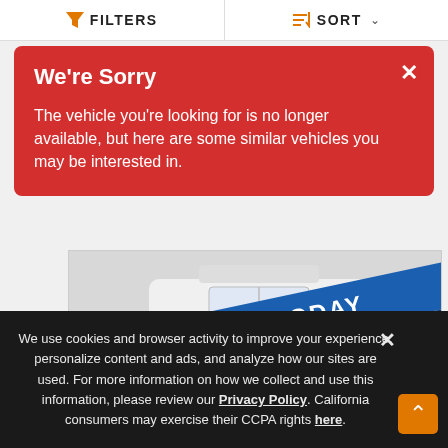FILTERS   SORT
We're Sorry
The vehicle you're looking for is no longer available, but here are some similar vehicles you may be interested in.
[Figure (illustration): An off-road UTV/side-by-side vehicle in white with a blue diagonal 'RESERVE TODAY' banner across it and an 'ORDER YOUR RIDE TODAY' button at the bottom.]
We use cookies and browser activity to improve your experience, personalize content and ads, and analyze how our sites are used. For more information on how we collect and use this information, please review our Privacy Policy. California consumers may exercise their CCPA rights here.